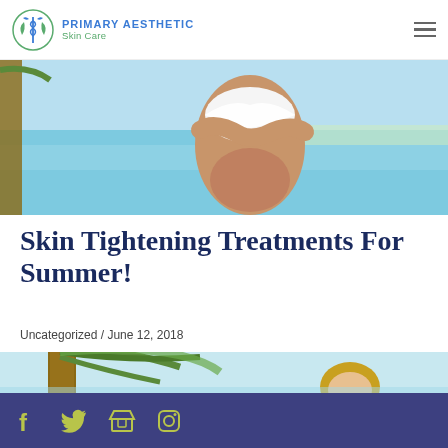PRIMARY AESTHETIC Skin Care
[Figure (photo): Woman in white bikini top at a beach, tanned skin, tropical setting with turquoise water and blue sky]
Skin Tightening Treatments For Summer!
Uncategorized / June 12, 2018
[Figure (photo): Woman with sunglasses near a palm tree with tropical green leaves and light blue background]
Social media icons: Facebook, Twitter, Store, Instagram